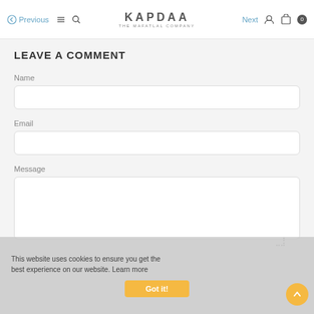Previous | KAPDAA THE MAFATLAL COMPANY | Next 0
LEAVE A COMMENT
Name
Email
Message
This website uses cookies to ensure you get the best experience on our website. Learn more
Got it!